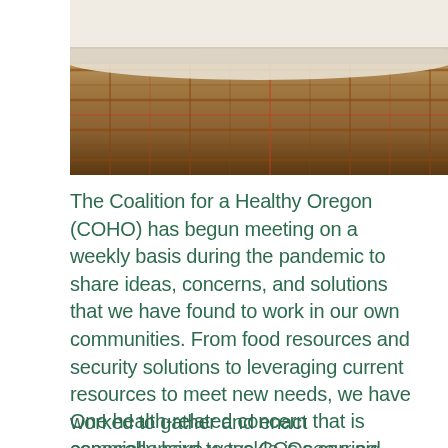[Figure (photo): Close-up photo of a bed with a plaid/checkered blanket or quilt in brown, red, and tan colors, with white pillows at the top edge.]
The Coalition for a Healthy Oregon (COHO) has begun meeting on a weekly basis during the pandemic to share ideas, concerns, and solutions that we have found to work in our own communities. From food resources and security solutions to leveraging current resources to meet new needs, we have worked to gather and enact comprehensive ways CCOs can aid their communities during this time.
One health-related concern that is especially hard to tackle is securing